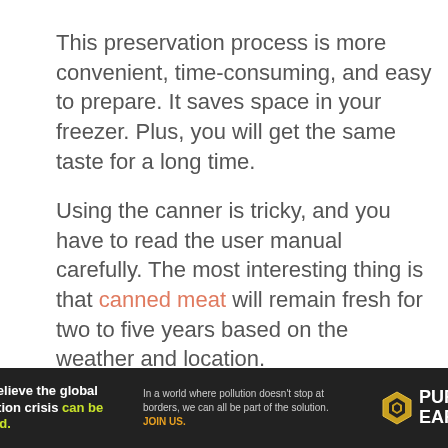This preservation process is more convenient, time-consuming, and easy to prepare. It saves space in your freezer. Plus, you will get the same taste for a long time.
Using the canner is tricky, and you have to read the user manual carefully. The most interesting thing is that canned meat will remain fresh for two to five years based on the weather and location.
Remember, canned meat is already cooked, and it is better to warm it and use it for different
[Figure (other): Advertisement banner for Pure Earth. Text reads: 'We believe the global pollution crisis can be solved.' with green highlighted text. Middle section: 'In a world where pollution doesn't stop at borders, we can all be part of the solution. JOIN US.' Right section shows Pure Earth logo with diamond icon.]